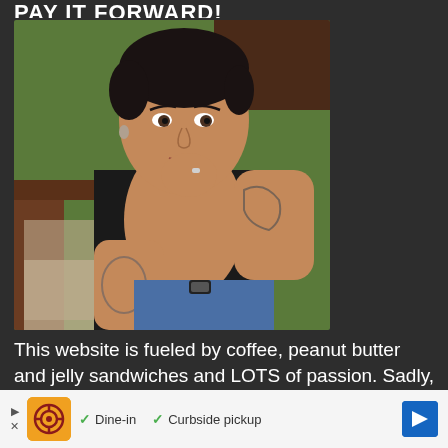PAY IT FORWARD!
[Figure (photo): A woman with short dark hair and tattoos sitting in a wicker chair outdoors, resting her chin on her hand, wearing a black sleeveless top, with green foliage and wooden structure in the background.]
This website is fueled by coffee, peanut butter and jelly sandwiches and LOTS of passion. Sadly,
[Figure (other): Advertisement bar showing an orange logo icon, checkmarks for Dine-in and Curbside pickup options, a blue diamond arrow button, and close/skip controls.]